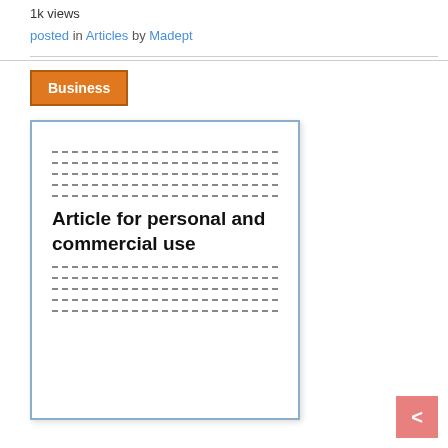1k views
posted in Articles by Madept
Business
[Figure (illustration): A document card with dashed placeholder lines and bold text reading 'Article for personal and commercial use' in the center]
<